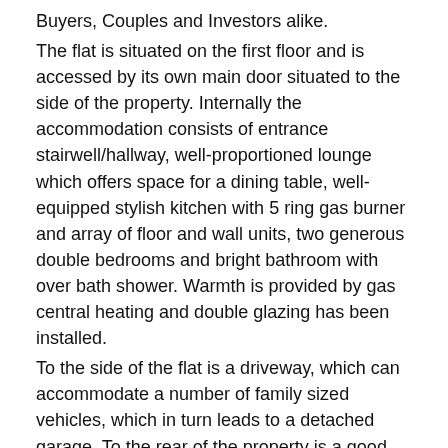Buyers, Couples and Investors alike. The flat is situated on the first floor and is accessed by its own main door situated to the side of the property. Internally the accommodation consists of entrance stairwell/hallway, well-proportioned lounge which offers space for a dining table, well-equipped stylish kitchen with 5 ring gas burner and array of floor and wall units, two generous double bedrooms and bright bathroom with over bath shower. Warmth is provided by gas central heating and double glazing has been installed. To the side of the flat is a driveway, which can accommodate a number of family sized vehicles, which in turn leads to a detached garage. To the rear of the property is a good sized garden which is mainly laid to lawn with surrounding timber fence. For those working in the City Centre the flat is ideally located for local bus and rail networks. Alternatively the position of the flat is ideal to allow easy access to